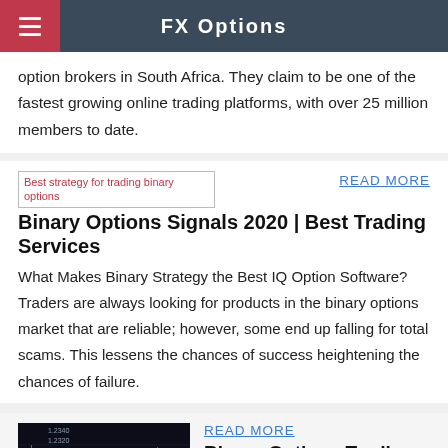FX Options
option brokers in South Africa. They claim to be one of the fastest growing online trading platforms, with over 25 million members to date.
[Figure (screenshot): Broken image placeholder labeled 'Best strategy for trading binary options' in red text]
READ MORE
Binary Options Signals 2020 | Best Trading Services
What Makes Binary Strategy the Best IQ Option Software? Traders are always looking for products in the binary options market that are reliable; however, some end up falling for total scams. This lessens the chances of success heightening the chances of failure.
[Figure (screenshot): Candlestick chart showing binary options trading data with red and green candles on a dark background]
READ MORE
Binary Options Trading Strategies - Forex Strategies